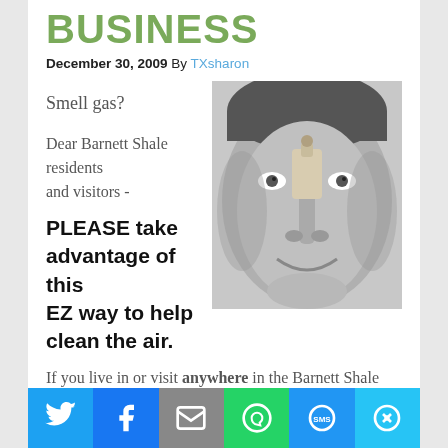BUSINESS
December 30, 2009 By TXsharon
Smell gas?
Dear Barnett Shale residents and visitors -
[Figure (photo): Black and white close-up photo of a woman's face with a clothespin on her nose]
PLEASE take advantage of this EZ way to help clean the air.
If you live in or visit anywhere in the Barnett Shale and encounter an odor you suspect is related to natural gas